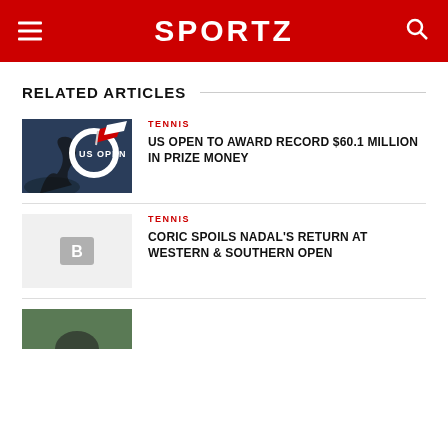SPORTZ
RELATED ARTICLES
[Figure (photo): US Open logo on dark blue background with silhouette of tennis player]
TENNIS
US OPEN TO AWARD RECORD $60.1 MILLION IN PRIZE MONEY
[Figure (photo): Placeholder image with letter B icon on light grey background]
TENNIS
CORIC SPOILS NADAL'S RETURN AT WESTERN & SOUTHERN OPEN
[Figure (photo): Partial photo with green background, partially cut off at bottom of page]